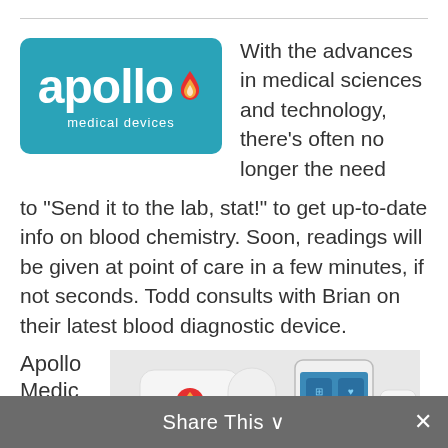[Figure (logo): Apollo Medical Devices logo — teal rounded rectangle with white bold 'apollo' text and stylized flame/drop icon, subtitle 'medical devices']
With the advances in medical sciences and technology, there's often no longer the need to “Send it to the lab, stat!” to get up-to-date info on blood chemistry. Soon, readings will be given at point of care in a few minutes, if not seconds. Todd consults with Brian on their latest blood diagnostic device.
Apollo Medical Devices has been
[Figure (photo): Photo of Apollo Medical Devices blood diagnostic hardware: a small white square device with the Apollo logo/drop, connected to a white dongle, alongside a smartphone displaying an app interface, and a small white pluggable device.]
Share This ∨  ✕